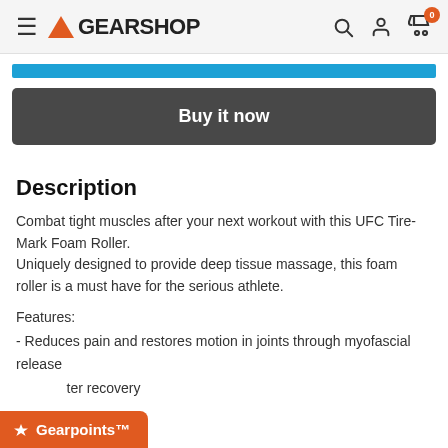GEARSHOP
[Figure (other): Blue progress/navigation bar]
Buy it now
Description
Combat tight muscles after your next workout with this UFC Tire-Mark Foam Roller.
Uniquely designed to provide deep tissue massage, this foam roller is a must have for the serious athlete.
Features:
- Reduces pain and restores motion in joints through myofascial release
- [fas]ter recovery
Gearpoints™